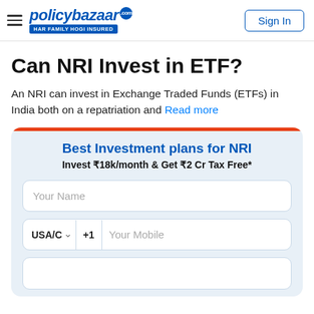policybazaar.com — HAR FAMILY HOGI INSURED | Sign In
Can NRI Invest in ETF?
An NRI can invest in Exchange Traded Funds (ETFs) in India both on a repatriation and Read more
Best Investment plans for NRI
Invest ₹18k/month & Get ₹2 Cr Tax Free*
Your Name
USA/C ▾  +1  Your Mobile